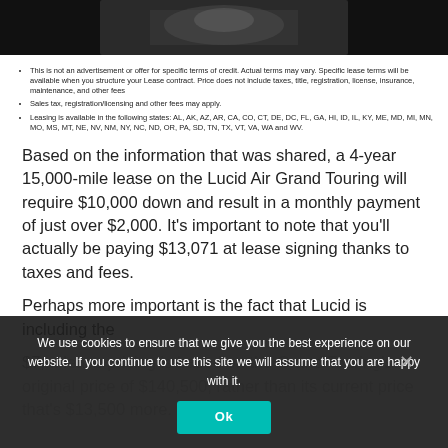[Figure (photo): Dark photograph, partially visible at top of page, appears to show a vehicle interior or dark scene]
This is not an advertisement or offer for specific terms of credit. Actual terms may vary. Specific lease terms will be available when you structure your Lease contract. Price does not include taxes, title, registration, license, insurance, maintenance, and other fees
Sales tax, registration/licensing and other fees may apply.
Leasing is available in the following states: AL, AK, AZ, AR, CA, CO, CT, DE, DC, FL, GA, HI, ID, IL, KY, ME, MD, MI, MN, MO, MS, MT, NE, NV, NM, NY, NC, ND, OR, PA, SD, TN, TX, VT, VA, WA and WV.
Based on the information that was shared, a 4-year 15,000-mile lease on the Lucid Air Grand Touring will require $10,000 down and result in a monthly payment of just over $2,000. It’s important to note that you’ll actually be paying $13,071 at lease signing thanks to taxes and fees.
Perhaps more important is the fact that Lucid is including the $7,... lease pricing is based on the Grand Touring’s original price of $140,500, rather than its current price that’s $13,500 more.
We use cookies to ensure that we give you the best experience on our website. If you continue to use this site we will assume that you are happy with it.